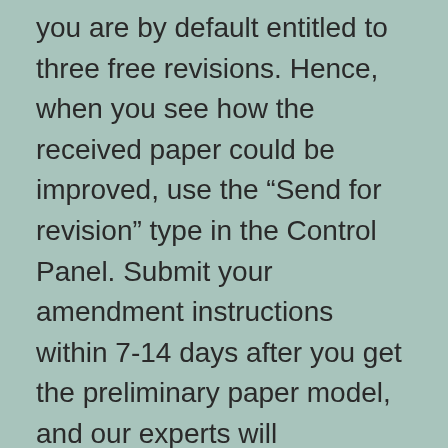you are by default entitled to three free revisions. Hence, when you see how the received paper could be improved, use the “Send for revision” type in the Control Panel. Submit your amendment instructions within 7-14 days after you get the preliminary paper model, and our experts will implement them ASAP. PaperHelp customized research paper service operates on a pre-paid foundation. Respectively, you have to course of the payment when inserting an order.
We assure not to share your particulars with any third parties. As lengthy as you utilize a